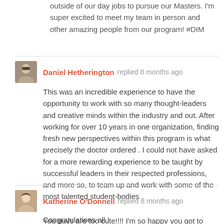outside of our day jobs to pursue our Masters. I'm super excited to meet my team in person and other amazing people from our program! #DIM
Daniel Hetherington replied 8 months ago
This was an incredible experience to have the opportunity to work with so many thought-leaders and creative minds within the industry and out. After working for over 10 years in one organization, finding fresh new perspectives within this program is what precisely the doctor ordered . I could not have asked for a more rewarding experience to be taught by successful leaders in their respected professions, and more so, to team up and work with some of the most talented student-bodies .

Congratulations all.!
Katherine O'Donnell replied 8 months ago
You guys are too cute!!!! I'm so happy you got to meet in person! Thank you for everything this